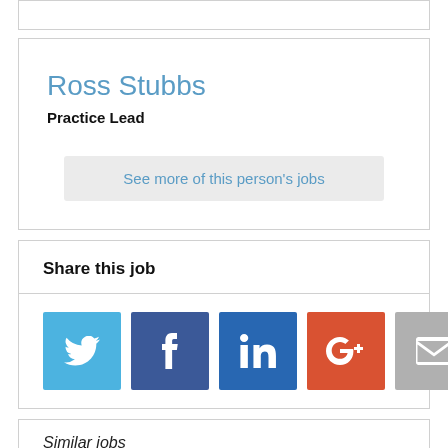Ross Stubbs
Practice Lead
See more of this person's jobs
Share this job
[Figure (infographic): Social share buttons: Twitter (blue), Facebook (dark blue), LinkedIn (dark blue), Google+ (red-orange), Email (grey)]
Similar jobs